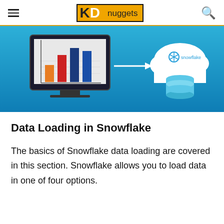KD nuggets
[Figure (illustration): A blue gradient banner illustration showing a computer monitor displaying a bar chart (with orange, red, and dark blue bars) connected by a white arrow to a white cloud icon with the Snowflake logo and a light blue database cylinder beneath it.]
Data Loading in Snowflake
The basics of Snowflake data loading are covered in this section. Snowflake allows you to load data in one of four options.